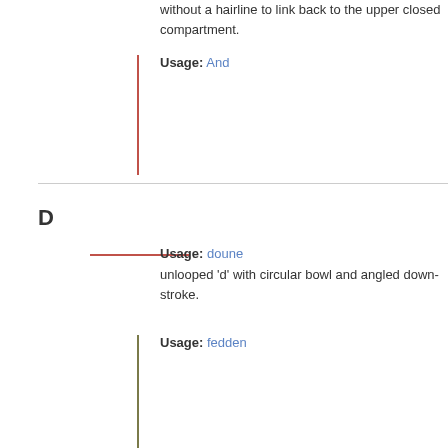without a hairline to link back to the upper closed compartment.
Usage: And
D
Usage: doune
unlooped 'd' with circular bowl and angled down-stroke.
Usage: fedden